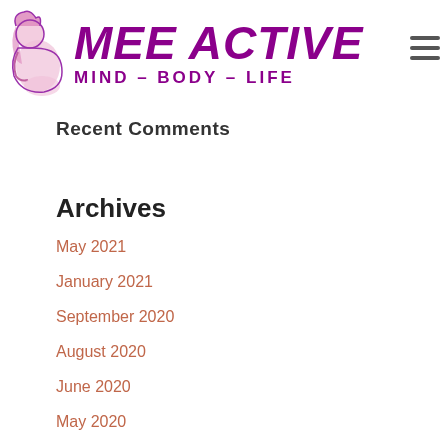[Figure (logo): Mee Active logo with stylized woman figure in pink, text 'MEE ACTIVE' in bold italic purple and 'MIND - BODY - LIFE' subtitle in purple]
Recent Comments
Archives
May 2021
January 2021
September 2020
August 2020
June 2020
May 2020
April 2020